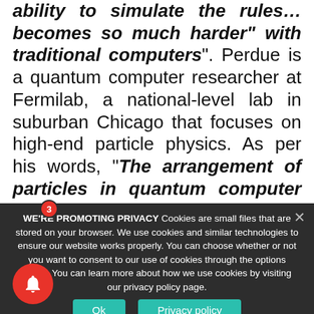ability to simulate the rules… becomes so much harder" with traditional computers". Perdue is a quantum computer researcher at Fermilab, a national-level lab in suburban Chicago that focuses on high-end particle physics. As per his words, "The arrangement of particles in quantum computer processors allow the study of tiny particles because these turn these
WE'RE PROMOTING PRIVACY Cookies are small files that are stored on your browser. We use cookies and similar technologies to ensure our website works properly. You can choose whether or not you want to consent to our use of cookies through the options below. You can learn more about how we use cookies by visiting our privacy policy page.